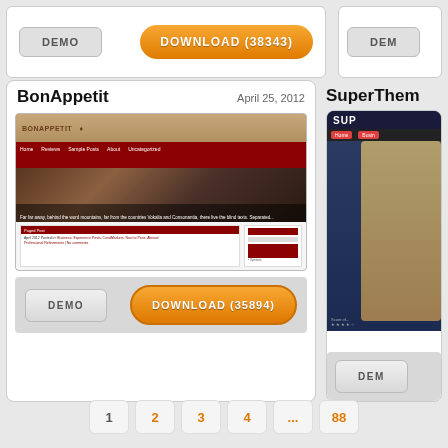[Figure (screenshot): Partial view of a previous theme card with DEMO and DOWNLOAD (38343) buttons]
BonAppetit
April 25, 2012
[Figure (screenshot): BonAppetit WordPress theme screenshot showing a restaurant/dining theme with red ribbon navigation and candlelit dinner image]
DEMO
DOWNLOAD (35894)
SuperThem
[Figure (screenshot): Partial SuperThemes card showing a dark theme with anime-style illustration]
DEMO
1
2
3
4
...
88